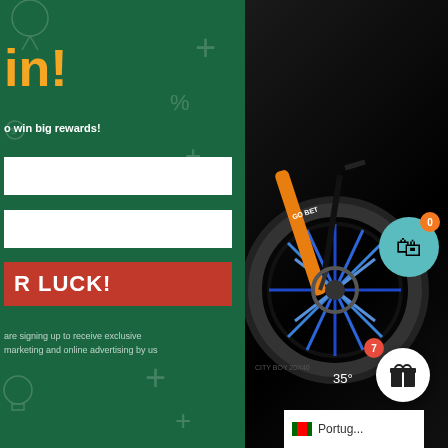[Figure (screenshot): Marketing popup overlay with green left panel showing prize giveaway form and dark right panel showing electric bike product image]
in!
o win big rewards!
R LUCK!
are signing up to receive exclusive marketing and online advertising by us
35°
Portug...